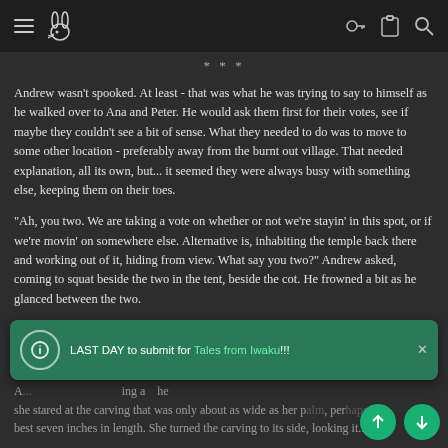Navigation header with menu, logo, key, clipboard, and search icons
***
Andrew wasn't spooked. At least - that was what he was trying to say to himself as he walked over to Ana and Peter. He would ask them first for their votes, see if maybe they couldn't see a bit of sense. What they needed to do was to move to some other location - preferably away from the burnt out village. That needed explanation, all its own, but... it seemed they were always busy with something else, keeping them on their toes.
"Ah, you two. We are taking a vote on whether or not we're stayin' in this spot, or if we're movin' on somewhere else. Alternative is, inhabiting the temple back there and working out of it, hiding from view. What say you two?" Andrew asked, coming to squat beside the two in the tent, beside the cot. He frowned a bit as he glanced between the two.
"You seen the bottom of the bottle I gave you, I see?"
[Figure (screenshot): Toast notification overlay: green background with info icon circle, text reading 'LAST DAY to submit for Tales from Iwaku!!!' with a green link for 'Tales from Iwaku' and an X close button]
A [text cut off] ...ing a [text cut off] he she stared at the carving that was only about as wide as her p[alm], per[haps] at best seven inches in length. She turned the carving to its side, looking it...